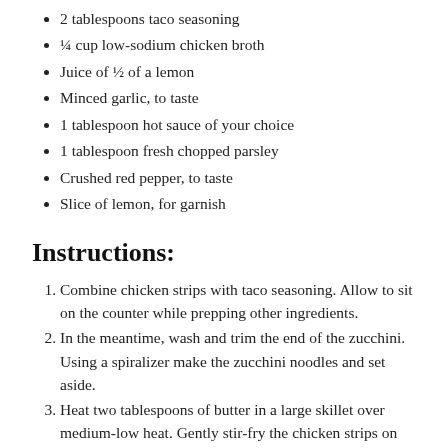2 tablespoons taco seasoning
¼ cup low-sodium chicken broth
Juice of ½ of a lemon
Minced garlic, to taste
1 tablespoon hot sauce of your choice
1 tablespoon fresh chopped parsley
Crushed red pepper, to taste
Slice of lemon, for garnish
Instructions:
Combine chicken strips with taco seasoning. Allow to sit on the counter while prepping other ingredients.
In the meantime, wash and trim the end of the zucchini. Using a spiralizer make the zucchini noodles and set aside.
Heat two tablespoons of butter in a large skillet over medium-low heat. Gently stir-fry the chicken strips on all